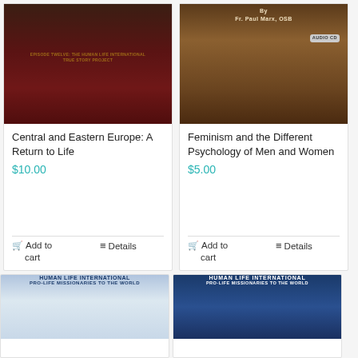[Figure (photo): Product image for Central and Eastern Europe: A Return to Life DVD, dark red background with church and icon imagery]
Central and Eastern Europe: A Return to Life
$10.00
Add to cart
Details
[Figure (photo): Product image for Feminism and the Different Psychology of Men and Women audio CD by Fr. Paul Marx, OSB]
Feminism and the Different Psychology of Men and Women
$5.00
Add to cart
Details
[Figure (photo): Bottom left product image: Human Life International Pro-Life Missionaries to the World with angel imagery]
[Figure (photo): Bottom right product image: Human Life International Pro-Life Missionaries to the World with blue background]